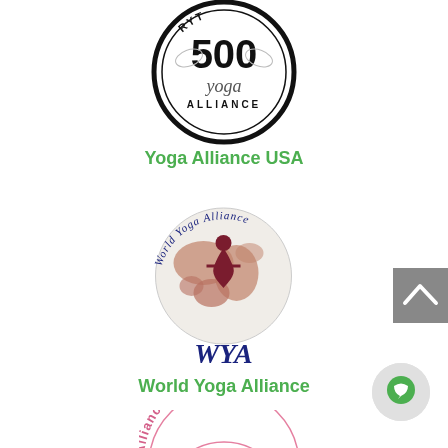[Figure (logo): Yoga Alliance RYT 500 certification badge — circular black border logo with '500' and 'yoga ALLIANCE' text and a stylized figure silhouette]
Yoga Alliance USA
[Figure (logo): World Yoga Alliance (WYA) logo — circular globe image with a yoga figure in dark red, 'World Yoga Alliance' text arcing around the top, and 'WYA' in large dark blue letters below]
World Yoga Alliance
[Figure (logo): Alliance Internationale logo — partially visible at the bottom of the page, showing curved text 'Alliance Interna...' in pink/salmon color]
[Figure (other): Scroll-to-top button — grey rectangle with upward chevron arrow]
[Figure (other): Live chat button — light grey circle with green chat bubble icon]